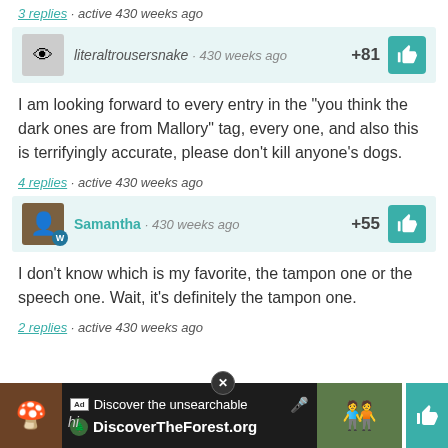3 replies · active 430 weeks ago
literaltrousersnake · 430 weeks ago +81
I am looking forward to every entry in the "you think the dark ones are from Mallory" tag, every one, and also this is terrifyingly accurate, please don't kill anyone's dogs.
4 replies · active 430 weeks ago
Samantha · 430 weeks ago +55
I don't know which is my favorite, the tampon one or the speech one. Wait, it's definitely the tampon one.
2 replies · active 430 weeks ago
[Figure (screenshot): Advertisement banner for DiscoverTheForest.org with close button]
hi
Discover the unsearchable DiscoverTheForest.org